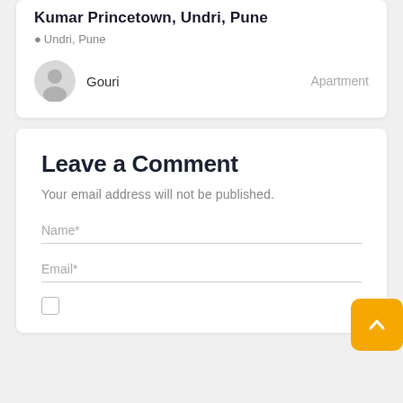Kumar Princetown, Undri, Pune
Undri, Pune
Gouri
Apartment
Leave a Comment
Your email address will not be published.
Name*
Email*